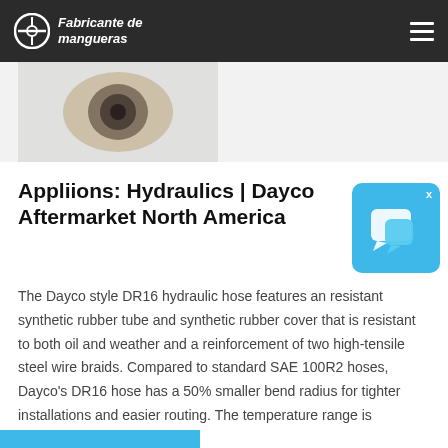Fabricante de mangueras
[Figure (photo): Partial view of a hydraulic hose fitting/connector component on a white background]
Appliions: Hydraulics | Dayco Aftermarket North America
[Figure (illustration): Chat widget icon — blue rounded square with speech bubble icon and X close button]
The Dayco style DR16 hydraulic hose features an resistant synthetic rubber tube and synthetic rubber cover that is resistant to both oil and weather and a reinforcement of two high-tensile steel wire braids. Compared to standard SAE 100R2 hoses, Dayco's DR16 hose has a 50% smaller bend radius for tighter installations and easier routing. The temperature range is ...
[Figure (photo): Partial blue image visible at the bottom of the page]